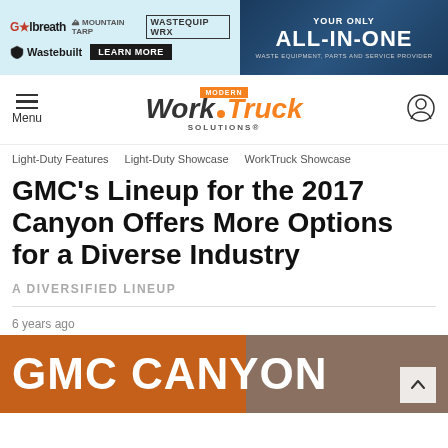[Figure (screenshot): Banner advertisement for Galbreath, Mountain Tarp, Wastequip WRX, and Wastebuilt with Learn More button on the left; right side shows dark blue background with text YOUR ONLY ALL-IN-ONE WASTE EQUIPMENT, PARTS AND SERVICE PROVIDER]
[Figure (logo): Modern Work Truck Solutions logo with hamburger menu on left and user icon on right]
Light-Duty Features   Light-Duty Showcase   WorkTruck Showcase
GMC's Lineup for the 2017 Canyon Offers More Options for a Diverse Industry
A DIVERSIFIED LINEUP
6 years ago
[Figure (photo): GMC Canyon text on orange background with truck image on right side]